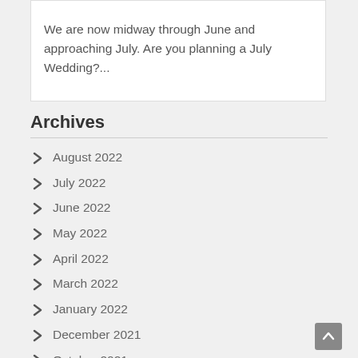We are now midway through June and approaching July. Are you planning a July Wedding?...
Archives
August 2022
July 2022
June 2022
May 2022
April 2022
March 2022
January 2022
December 2021
October 2021